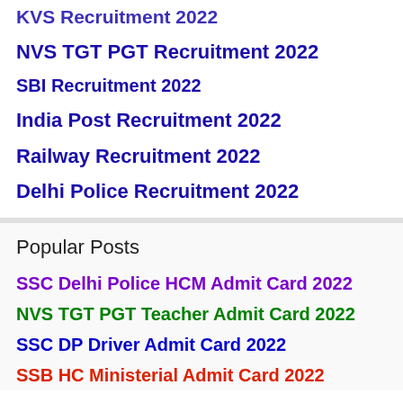KVS Recruitment 2022
NVS TGT PGT Recruitment 2022
SBI Recruitment 2022
India Post Recruitment 2022
Railway Recruitment 2022
Delhi Police Recruitment 2022
Popular Posts
SSC Delhi Police HCM Admit Card 2022
NVS TGT PGT Teacher Admit Card 2022
SSC DP Driver Admit Card 2022
SSB HC Ministerial Admit Card 2022